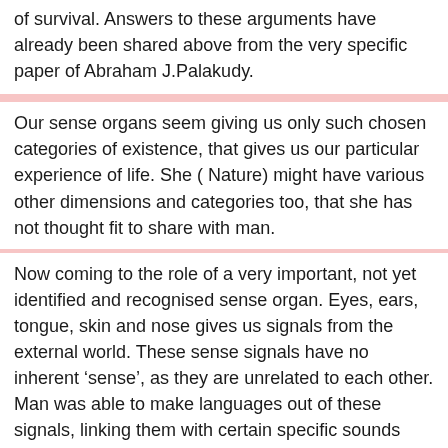of survival. Answers to these arguments have already been shared above from the very specific paper of Abraham J.Palakudy.
Our sense organs seem giving us only such chosen categories of existence, that gives us our particular experience of life. She ( Nature) might have various other dimensions and categories too, that she has not thought fit to share with man.
Now coming to the role of a very important, not yet identified and recognised sense organ. Eyes, ears, tongue, skin and nose gives us signals from the external world. These sense signals have no inherent ‘sense’, as they are unrelated to each other. Man was able to make languages out of these signals, linking them with certain specific sounds and scripts. Still the much-required ‘sense’ factor, the unity between different sense signals, was absent.
We know the reality of life we experience is the result of certain relation, certain unity between what these different